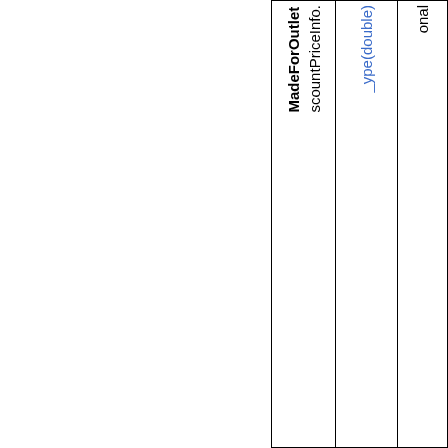| Discount Price Info. | Type (double) | onal |
| --- | --- | --- |
| Made For Outlet |  |  |